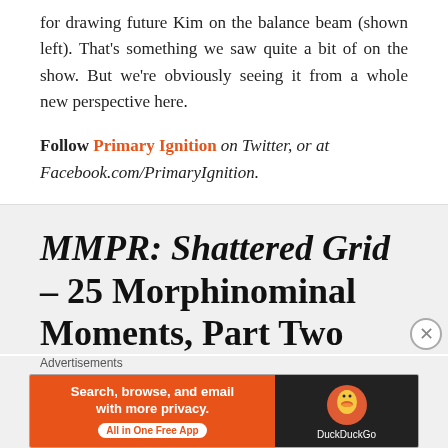for drawing future Kim on the balance beam (shown left). That's something we saw quite a bit of on the show. But we're obviously seeing it from a whole new perspective here.
Follow Primary Ignition on Twitter, or at Facebook.com/PrimaryIgnition.
MMPR: Shattered Grid – 25 Morphinominal Moments, Part Two
[Figure (other): DuckDuckGo advertisement banner with text 'Search, browse, and email with more privacy. All in One Free App' on orange background with DuckDuckGo logo on dark background]